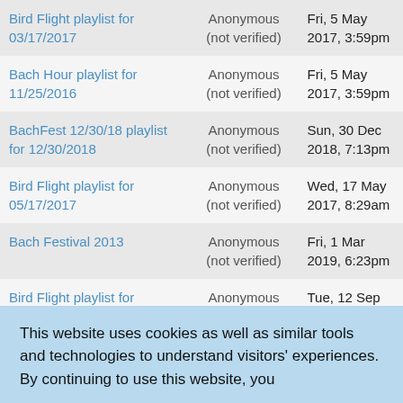|  |  |  |
| --- | --- | --- |
| Bird Flight playlist for 03/17/2017 | Anonymous (not verified) | Fri, 5 May 2017, 3:59pm |
| Bach Hour playlist for 11/25/2016 | Anonymous (not verified) | Fri, 5 May 2017, 3:59pm |
| BachFest 12/30/18 playlist for 12/30/2018 | Anonymous (not verified) | Sun, 30 Dec 2018, 7:13pm |
| Bird Flight playlist for 05/17/2017 | Anonymous (not verified) | Wed, 17 May 2017, 8:29am |
| Bach Festival 2013 | Anonymous (not verified) | Fri, 1 Mar 2019, 6:23pm |
| Bird Flight playlist for 09/12/2017 | Anonymous (not verified) | Tue, 12 Sep 2017, 10:03am |
This website uses cookies as well as similar tools and technologies to understand visitors' experiences. By continuing to use this website, you